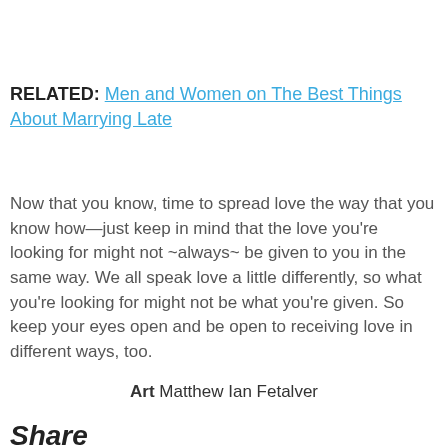RELATED: Men and Women on The Best Things About Marrying Late
Now that you know, time to spread love the way that you know how—just keep in mind that the love you're looking for might not ~always~ be given to you in the same way. We all speak love a little differently, so what you're looking for might not be what you're given. So keep your eyes open and be open to receiving love in different ways, too.
Art Matthew Ian Fetalver
Share